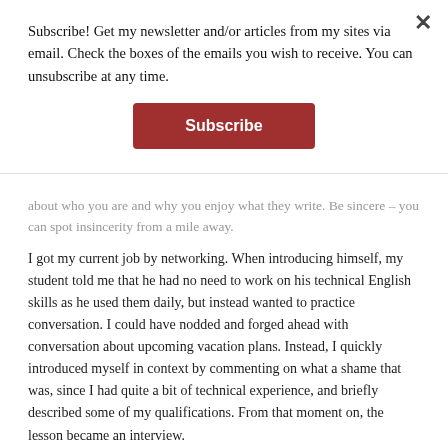Subscribe! Get my newsletter and/or articles from my sites via email. Check the boxes of the emails you wish to receive. You can unsubscribe at any time.
Subscribe
about who you are and why you enjoy what they write. Be sincere – you can spot insincerity from a mile away.
I got my current job by networking. When introducing himself, my student told me that he had no need to work on his technical English skills as he used them daily, but instead wanted to practice conversation. I could have nodded and forged ahead with conversation about upcoming vacation plans. Instead, I quickly introduced myself in context by commenting on what a shame that was, since I had quite a bit of technical experience, and briefly described some of my qualifications. From that moment on, the lesson became an interview.